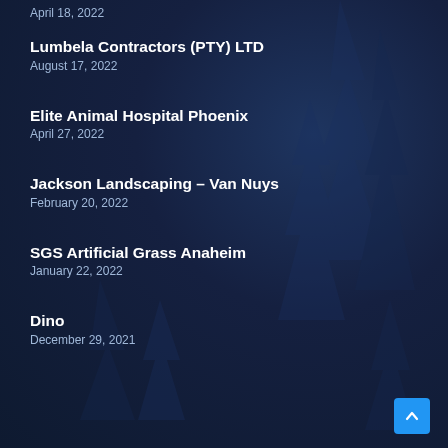April 18, 2022
Lumbela Contractors (PTY) LTD
August 17, 2022
Elite Animal Hospital Phoenix
April 27, 2022
Jackson Landscaping – Van Nuys
February 20, 2022
SGS Artificial Grass Anaheim
January 22, 2022
Dino
December 29, 2021